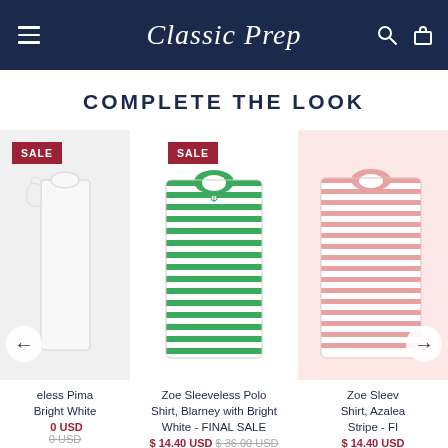Classic Prep
COMPLETE THE LOOK
[Figure (photo): White sleeveless pima shirt with SALE badge and left navigation arrow]
eless Pima Bright White
$14.40 USD (sale) $36.00 USD (original, strikethrough)
[Figure (photo): Green and white striped Zoe Sleeveless Polo Shirt with SALE badge]
Zoe Sleeveless Polo Shirt, Blarney with Bright White - FINAL SALE
$14.40 USD $36.00 USD
[Figure (photo): Pink striped Zoe Sleeveless Polo Shirt with right navigation arrow, partially cropped]
Zoe Sleeveless Polo Shirt, Azalea Stripe - FINAL SALE
$14.40 USD